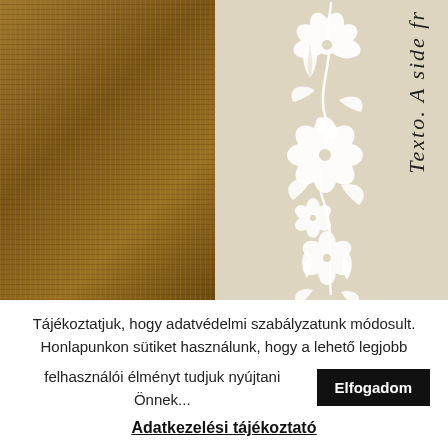[Figure (photo): Split image: left half shows close-up burlap/hessian fabric texture in brown tones; right half shows beige/linen background with white floral folk art decoration (flowers and vine motifs in Hungarian style) running vertically down the center. Vertical text on the right reads 'Texto. A side fr' in italic serif font.]
Tájékoztatjuk, hogy adatvédelmi szabályzatunk módosult. Honlapunkon sütiket használunk, hogy a lehető legjobb felhasználói élményt tudjuk nyújtani Önnek...
Elfogadom
Adatkezelési tájékoztató